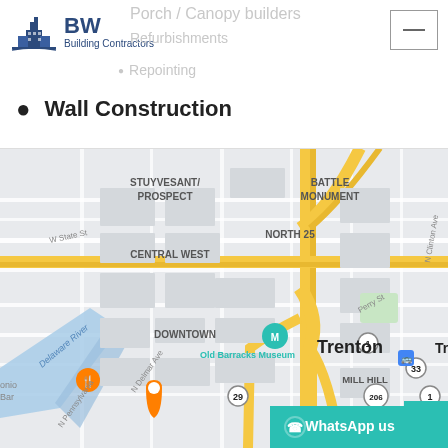BW Building Contractors
Porch / Canopy builders
Refurbishments
Repointing
Wall Construction
[Figure (map): Google Maps view of Trenton NJ area showing STUYVESANT/PROSPECT, BATTLE MONUMENT, NORTH 25, CENTRAL WEST, DOWNTOWN, MILL HILL neighborhoods; Delaware River; Old Barracks Museum; CURE Insurance; FOOD BAZAAR; streets including W State St, Perry St, N Clinton Ave, N Delaware Ave, N Pennsylvania Ave. WhatsApp overlay at bottom.]